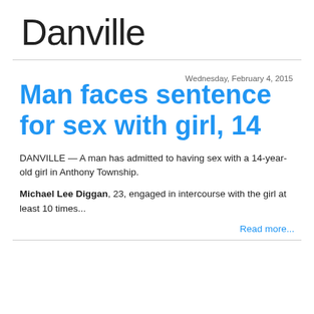Danville
Wednesday, February 4, 2015
Man faces sentence for sex with girl, 14
DANVILLE — A man has admitted to having sex with a 14-year-old girl in Anthony Township.
Michael Lee Diggan, 23, engaged in intercourse with the girl at least 10 times...
Read more...